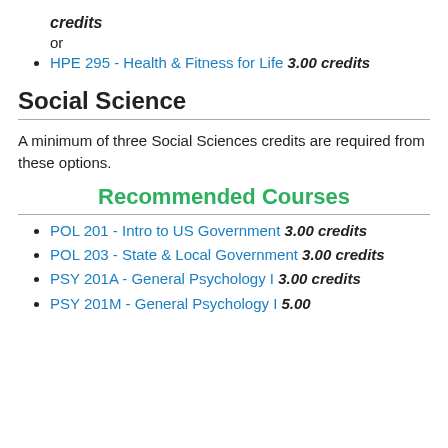credits or
HPE 295 - Health & Fitness for Life 3.00 credits
Social Science
A minimum of three Social Sciences credits are required from these options.
Recommended Courses
POL 201 - Intro to US Government 3.00 credits
POL 203 - State & Local Government 3.00 credits
PSY 201A - General Psychology I 3.00 credits
PSY 201M - General Psychology I 5.00